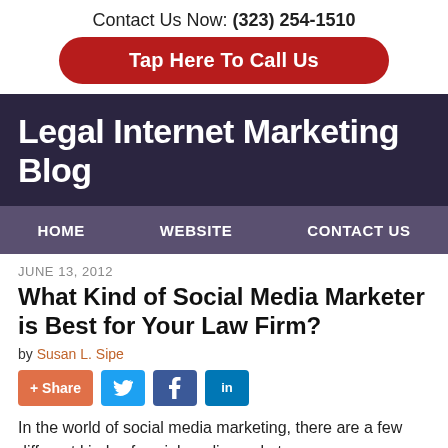Contact Us Now: (323) 254-1510
Tap Here To Call Us
Legal Internet Marketing Blog
HOME   WEBSITE   CONTACT US
JUNE 13, 2012
What Kind of Social Media Marketer is Best for Your Law Firm?
by Susan L. Sipe
+ Share  [Twitter]  [Facebook]  [LinkedIn]
In the world of social media marketing, there are a few different kinds of social media marketers